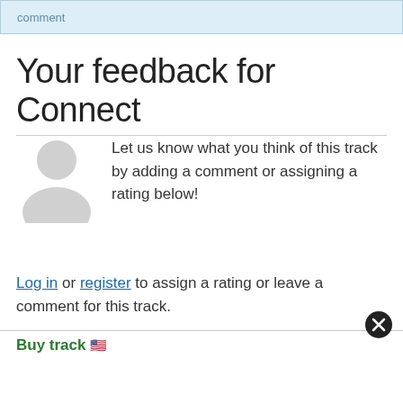comment
Your feedback for Connect
[Figure (illustration): Gray placeholder avatar icon of a person silhouette]
Let us know what you think of this track by adding a comment or assigning a rating below!
Log in or register to assign a rating or leave a comment for this track.
Buy track 🇺🇸